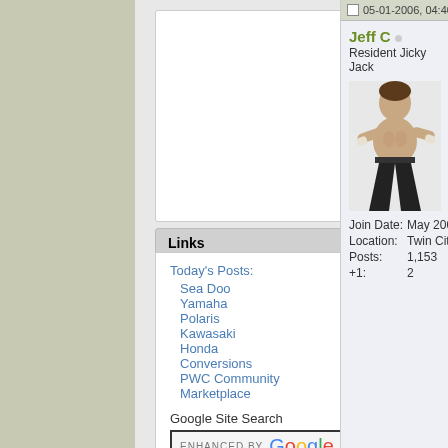Links
Today's Posts:
Sea Doo
Yamaha
Polaris
Kawasaki
Honda
Conversions
PWC Community
Marketplace
Google Site Search
ENHANCED BY Google
Search
05-01-2006, 04:40 PM
Jeff C
Resident Jicky Jack
[Figure (photo): Avatar photo of a shirtless man in a martial arts pose, wearing dark pants]
| Field | Value |
| --- | --- |
| Join Date: | May 2005 |
| Location: | Twin Cities, MN |
| Posts: | 1,153 |
| +1: | 2 |